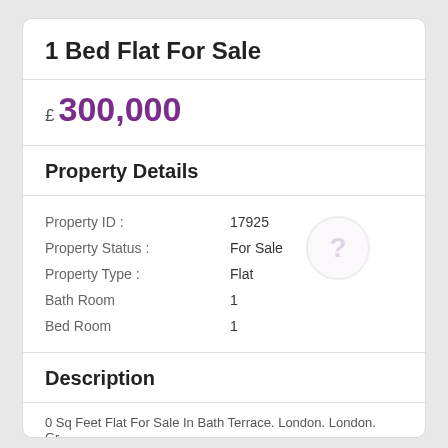1 Bed Flat For Sale
£ 300,000
Property Details
| Field | Value |
| --- | --- |
| Property ID : | 17925 |
| Property Status : | For Sale |
| Property Type : | Flat |
| Bath Room | 1 |
| Bed Room | 1 |
Description
0 Sq Feet Flat For Sale In Bath Terrace. London. London. Gr...